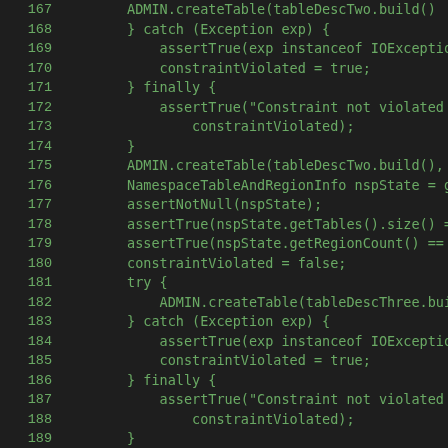[Figure (screenshot): Code editor screenshot showing Java source code lines 167-195 with green text on dark background. Lines show try/catch/finally blocks with HBase admin table operations, assertions, and test method declarations.]